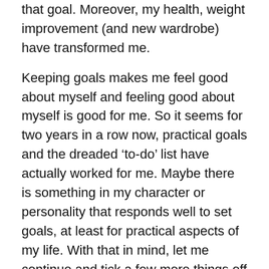that goal. Moreover, my health, weight improvement (and new wardrobe) have transformed me.
Keeping goals makes me feel good about myself and feeling good about myself is good for me. So it seems for two years in a row now, practical goals and the dreaded ‘to-do’ list have actually worked for me. Maybe there is something in my character or personality that responds well to set goals, at least for practical aspects of my life. With that in mind, let me continue and tick a few more things off my list…
Here are my practical goals for 2016:
Sell my home and set-up a new home nearer other family members.
Set my financial goals, including developing a new avenue of income.